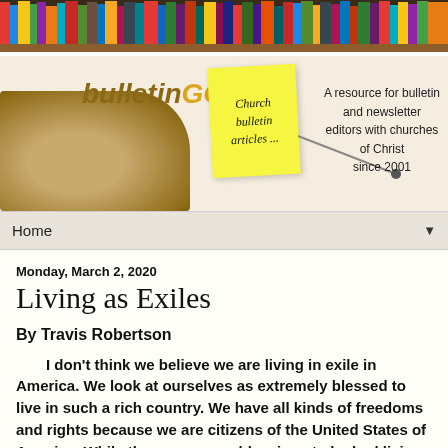[Figure (illustration): Colorful bookshelf banner with many book spines of various colors at the top of the page.]
[Figure (logo): bulletinGOLD logo banner showing an open Bible, a yellow sticky note reading 'Church bulletin articles...', the text 'bulletinGOLD' in stylized font, and the tagline 'A resource for bulletin and newsletter editors with churches of Christ since 2001'.]
Home ▼
Monday, March 2, 2020
Living as Exiles
By Travis Robertson
I don't think we believe we are living in exile in America. We look at ourselves as extremely blessed to live in such a rich country. We have all kinds of freedoms and rights because we are citizens of the United States of America. While there are many blessings to be had living in this country, have we